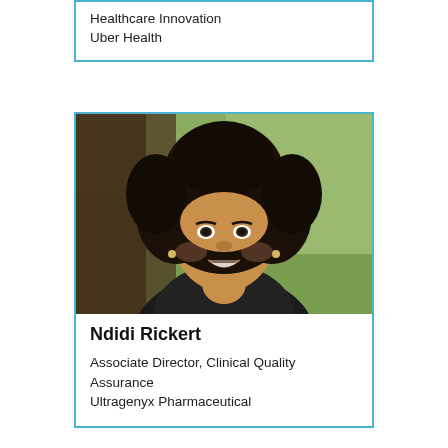Healthcare Innovation
Uber Health
[Figure (photo): Professional headshot of Ndidi Rickert, a woman with curly natural hair, smiling, wearing a dark top, photographed outdoors with a blurred green background.]
Ndidi Rickert
Associate Director, Clinical Quality Assurance
Ultragenyx Pharmaceutical